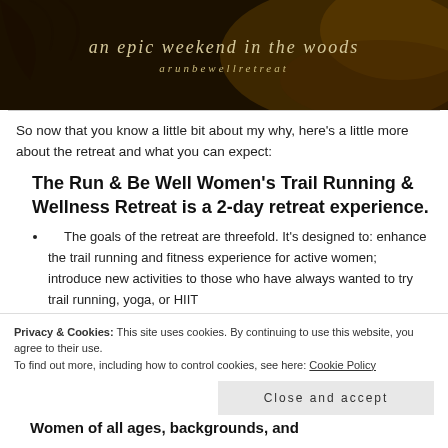[Figure (photo): Dark moody forest background with italic script text 'an epic weekend in the woods' and 'arunbewellretreat' in styled font overlay]
So now that you know a little bit about my why, here's a little more about the retreat and what you can expect:
The Run & Be Well Women's Trail Running & Wellness Retreat is a 2-day retreat experience.
The goals of the retreat are threefold. It's designed to: enhance the trail running and fitness experience for active women; introduce new activities to those who have always wanted to try trail running, yoga, or HIIT
Privacy & Cookies: This site uses cookies. By continuing to use this website, you agree to their use.
To find out more, including how to control cookies, see here: Cookie Policy
Close and accept
Women of all ages, backgrounds, and